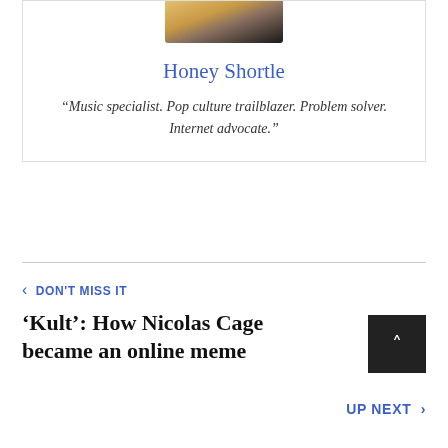[Figure (photo): Partial photo of Honey Shortle at top of author card, cropped at top]
Honey Shortle
“Music specialist. Pop culture trailblazer. Problem solver. Internet advocate.”
‹ DON'T MISS IT
‘Kult’: How Nicolas Cage became an online meme
UP NEXT ›